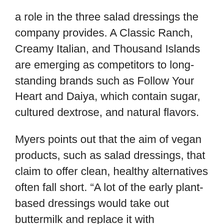a role in the three salad dressings the company provides. A Classic Ranch, Creamy Italian, and Thousand Islands are emerging as competitors to long-standing brands such as Follow Your Heart and Daiya, which contain sugar, cultured dextrose, and natural flavors.
Myers points out that the aim of vegan products, such as salad dressings, that claim to offer clean, healthy alternatives often fall short. “A lot of the early plant-based dressings would take out buttermilk and replace it with hydrogenated oils high in calories and high in fat.”
Myers adds, “I think that’s one of the biggest problems in the plant-based space right now is, you